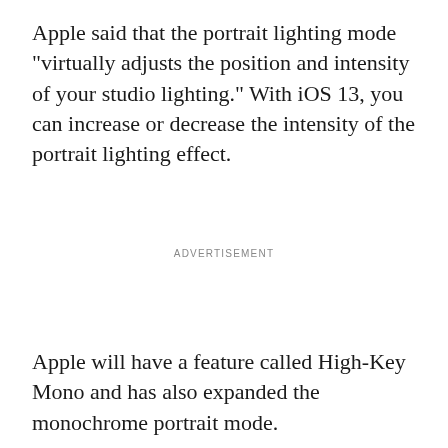Apple said that the portrait lighting mode "virtually adjusts the position and intensity of your studio lighting." With iOS 13, you can increase or decrease the intensity of the portrait lighting effect.
ADVERTISEMENT
Apple will have a feature called High-Key Mono and has also expanded the monochrome portrait mode.